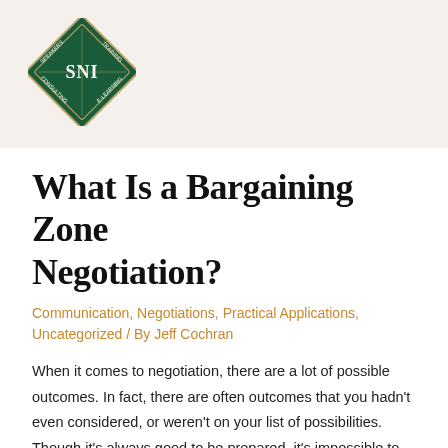[Figure (logo): SNI diamond-shaped logo in dark green with white text reading SPEAKERS, TRAINING, SNI, CONSULTING, E-LEARNING]
What Is a Bargaining Zone Negotiation?
Communication, Negotiations, Practical Applications, Uncategorized / By Jeff Cochran
When it comes to negotiation, there are a lot of possible outcomes. In fact, there are often outcomes that you hadn't even considered, or weren't on your list of possibilities. Though it's always good to be prepared, it's impossible to be ready for every single scenario. Instead, it's best to develop a list of acceptable …